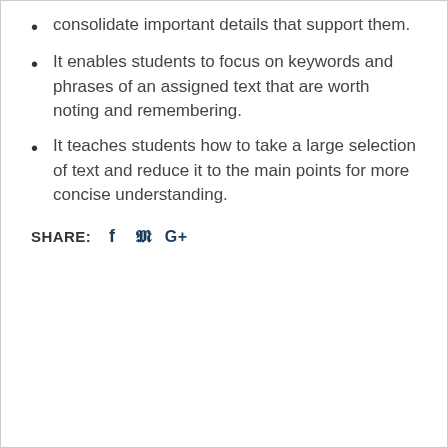consolidate important details that support them.
It enables students to focus on keywords and phrases of an assigned text that are worth noting and remembering.
It teaches students how to take a large selection of text and reduce it to the main points for more concise understanding.
SHARE: f  ✓  G+